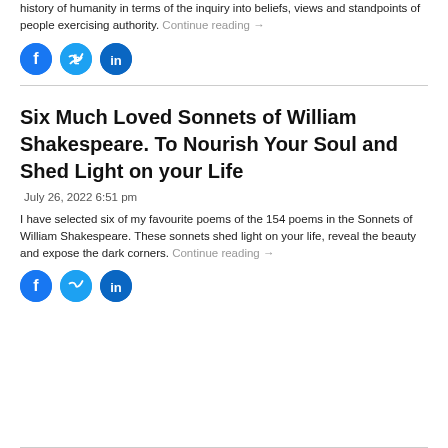history of humanity in terms of the inquiry into beliefs, views and standpoints of people exercising authority. Continue reading →
[Figure (other): Social share buttons: Facebook, Twitter, LinkedIn circles]
Six Much Loved Sonnets of William Shakespeare. To Nourish Your Soul and Shed Light on your Life
July 26, 2022 6:51 pm
I have selected six of my favourite poems of the 154 poems in the Sonnets of William Shakespeare. These sonnets shed light on your life, reveal the beauty and expose the dark corners. Continue reading →
[Figure (other): Social share buttons: Facebook, Twitter, LinkedIn circles]